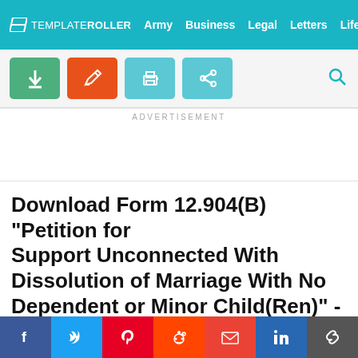TEMPLATEROLLER  Army  Business  Legal  Letters  Life
[Figure (screenshot): Toolbar with download (green), edit (orange), print (teal), share (teal) buttons and search icon]
ADVERTISEMENT
Download Form 12.904(B) "Petition for Support Unconnected With Dissolution of Marriage With No Dependent or Minor Child(Ren)" - Florida
[Figure (screenshot): Green Download PDF button with arrow icon and scroll-to-top circle button]
Social share bar: Facebook, Twitter, Pinterest, Reddit, Gmail, LinkedIn, Link